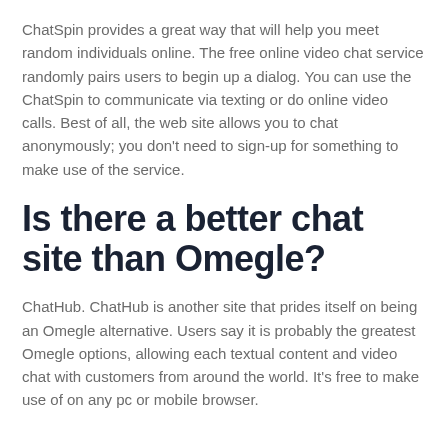ChatSpin provides a great way that will help you meet random individuals online. The free online video chat service randomly pairs users to begin up a dialog. You can use the ChatSpin to communicate via texting or do online video calls. Best of all, the web site allows you to chat anonymously; you don't need to sign-up for something to make use of the service.
Is there a better chat site than Omegle?
ChatHub. ChatHub is another site that prides itself on being an Omegle alternative. Users say it is probably the greatest Omegle options, allowing each textual content and video chat with customers from around the world. It's free to make use of on any pc or mobile browser.